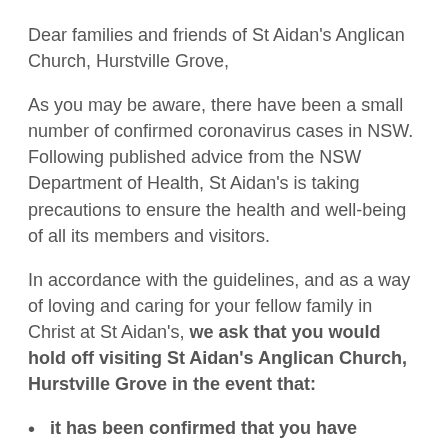Dear families and friends of St Aidan's Anglican Church, Hurstville Grove,
As you may be aware, there have been a small number of confirmed coronavirus cases in NSW. Following published advice from the NSW Department of Health, St Aidan's is taking precautions to ensure the health and well-being of all its members and visitors.
In accordance with the guidelines, and as a way of loving and caring for your fellow family in Christ at St Aidan's, we ask that you would hold off visiting St Aidan's Anglican Church, Hurstville Grove in the event that:
it has been confirmed that you have